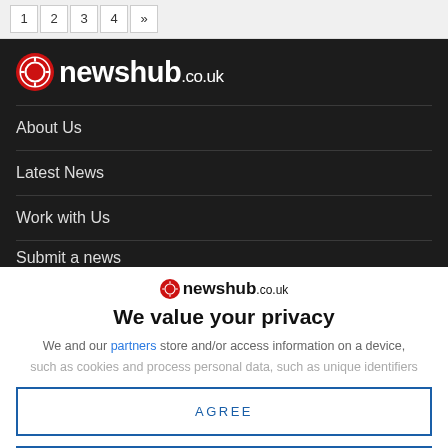1 2 3 4 »
[Figure (logo): newshub.co.uk logo in white on dark background, large size]
About Us
Latest News
Work with Us
Submit a news
[Figure (logo): newshub.co.uk logo, small, centered, on white background]
We value your privacy
We and our partners store and/or access information on a device,
such as cookies and process personal data, such as unique identifiers
AGREE
MORE OPTIONS